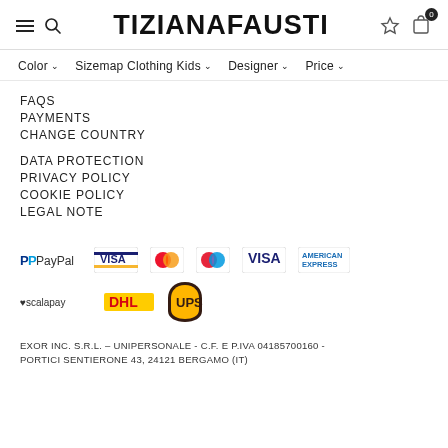TIZIANAFAUSTI
Color
Sizemap Clothing Kids
Designer
Price
FAQs
PAYMENTS
CHANGE COUNTRY
DATA PROTECTION
PRIVACY POLICY
COOKIE POLICY
LEGAL NOTE
[Figure (logo): Payment method logos: PayPal, VISA, Mastercard, Maestro, VISA (Electron), American Express, Scalapay, DHL, UPS]
EXOR INC. S.R.L. – UNIPERSONALE - C.F. E P.IVA 04185700160 - PORTICI SENTIERONE 43, 24121 BERGAMO (IT)